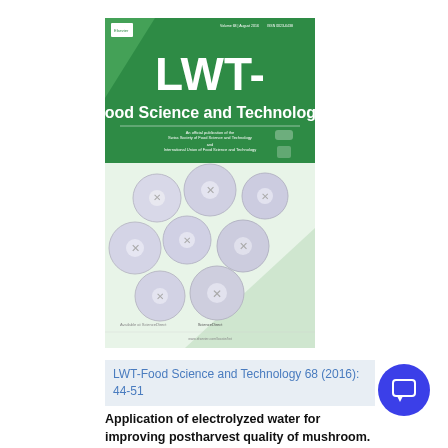[Figure (illustration): Cover of LWT - Food Science and Technology journal, showing green header with LWT- Food Science and Technology title text in white, blueberries on lower portion, and publication details.]
LWT-Food Science and Technology 68 (2016): 44-51
Application of electrolyzed water for improving postharvest quality of mushroom.